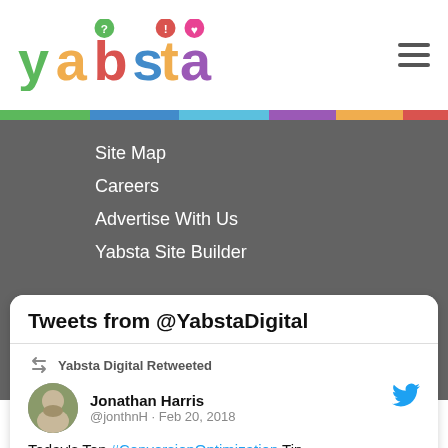Yabsta logo and hamburger menu
Site Map
Careers
Advertise With Us
Yabsta Site Builder
powered by yabsta
Tweets from @YabstaDigital
Yabsta Digital Retweeted
Jonathan Harris @jonthnH · Feb 20, 2018
Today's Top #ConversionOptimization Tip